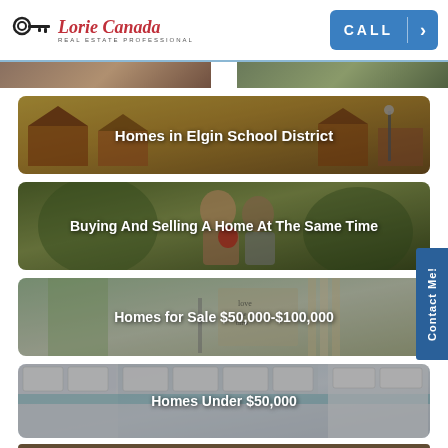[Figure (logo): Lorie Canada Real Estate Professional logo with key icon]
[Figure (screenshot): CALL button with arrow, blue rounded rectangle]
[Figure (photo): Partial strip of two photos at top]
[Figure (photo): Photo banner of houses with text overlay: Homes in Elgin School District]
[Figure (photo): Photo banner of family hugging outdoors with text overlay: Buying And Selling A Home At The Same Time]
[Figure (photo): Photo banner of interior room with text overlay: Homes for Sale $50,000-$100,000]
[Figure (photo): Photo banner of kitchen interior with text overlay: Homes Under $50,000]
[Figure (photo): Partial photo at bottom of page]
Contact Me!